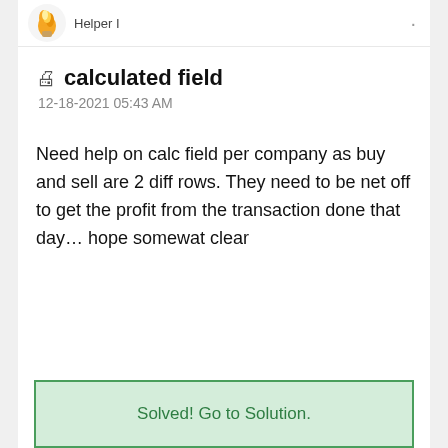Helper I
calculated field
12-18-2021 05:43 AM
Need help on calc field per company as buy and sell are 2 diff rows. They need to be net off to get the profit from the transaction done that day… hope somewat clear
Solved! Go to Solution.